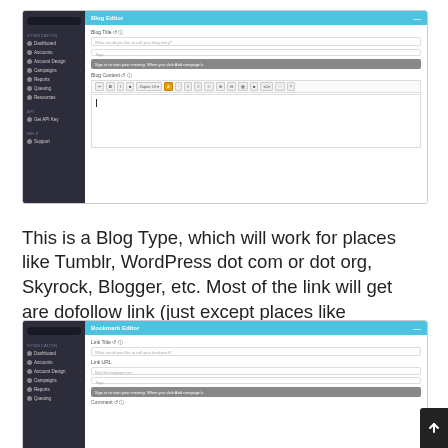[Figure (screenshot): Screenshot of a Blog Editor interface with sidebar navigation showing Dashboard, Accounts, Account Design, Campaigns, Reports, Queuing, Resources sections, and a main editing area with Blog Title field, Tags, a gray info bar, Blog Content editor with toolbar]
This is a Blog Type, which will work for places like Tumblr, WordPress dot com or dot org, Skyrock, Blogger, etc. Most of the link will get are dofollow link (just except places like Facebook, Twitter)
[Figure (screenshot): Screenshot of a Bookmark Editor interface with sidebar navigation and fields for Link Title, Link URL (http://homepage.com), Tags, a gray info bar, and Comment section]